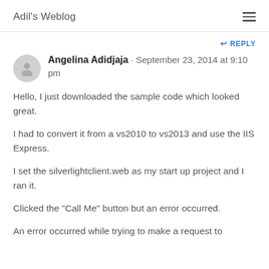Adil's Weblog
REPLY
Angelina Adidjaja · September 23, 2014 at 9:10 pm
Hello, I just downloaded the sample code which looked great.
I had to convert it from a vs2010 to vs2013 and use the IIS Express.
I set the silverlightclient.web as my start up project and I ran it.
Clicked the "Call Me" button but an error occurred.
An error occurred while trying to make a request to